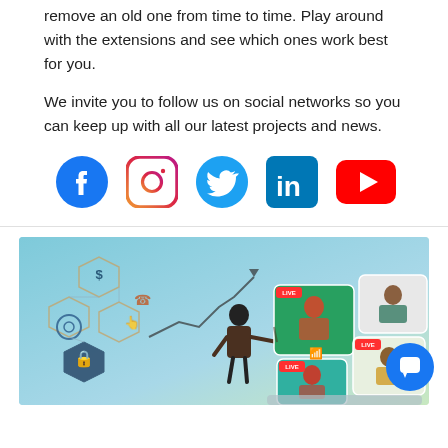remove an old one from time to time. Play around with the extensions and see which ones work best for you.
We invite you to follow us on social networks so you can keep up with all our latest projects and news.
[Figure (infographic): Row of five social media icons: Facebook (blue circle with f), Instagram (pink/purple rounded square with camera), Twitter (blue bird), LinkedIn (blue square with 'in'), YouTube (red rounded rectangle with play button)]
[Figure (illustration): Business person in suit presenting to a virtual video conference screen showing multiple participants. Background has network/hexagon icons representing finance, security, technology. Teal/blue gradient background. Chat button overlay in bottom right corner.]